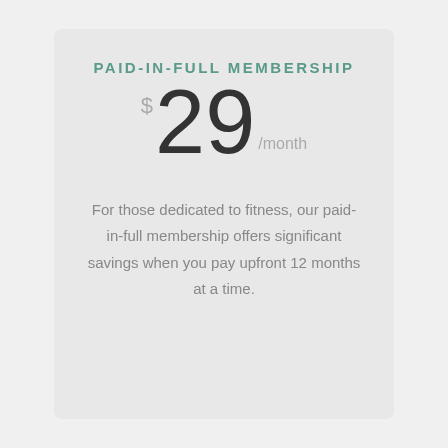PAID-IN-FULL MEMBERSHIP
$29/month
For those dedicated to fitness, our paid-in-full membership offers significant savings when you pay upfront 12 months at a time.